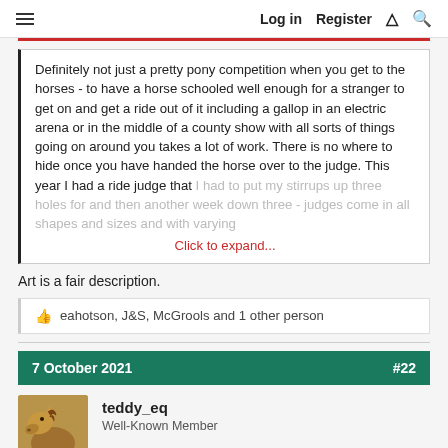Log in   Register
Definitely not just a pretty pony competition when you get to the horses - to have a horse schooled well enough for a stranger to get on and get a ride out of it including a gallop in an electric arena or in the middle of a county show with all sorts of things going on around you takes a lot of work. There is no where to hide once you have handed the horse over to the judge. This year I had a ride judge that I had to put my stirrups up three holes for and then another week down three - judges come in all shapes and sizes and with varying ... Click to expand...
Art is a fair description.
eahotson, J&S, McGrools and 1 other person
7 October 2021  #22
teddy_eq
Well-Known Member